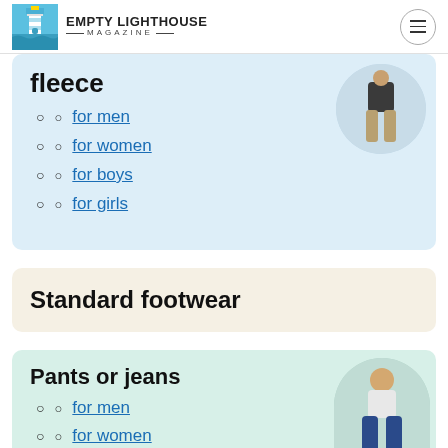Empty Lighthouse Magazine
fleece
for men
for women
for boys
for girls
Standard footwear
Pants or jeans
for men
for women
for boys